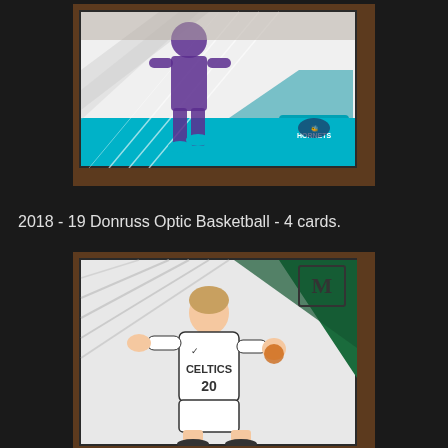[Figure (photo): A Charlotte Hornets basketball trading card (Donruss Optic style) showing a player in purple and teal uniform mid-action, with the Hornets logo visible. Card is placed on a wooden surface with dark background.]
2018 - 19 Donruss Optic Basketball - 4 cards.
[Figure (photo): A Panini Mosaic basketball trading card showing a Boston Celtics player wearing jersey number 20 (Gordon Hayward) dribbling, with green geometric design and the Mosaic logo in the top right corner.]